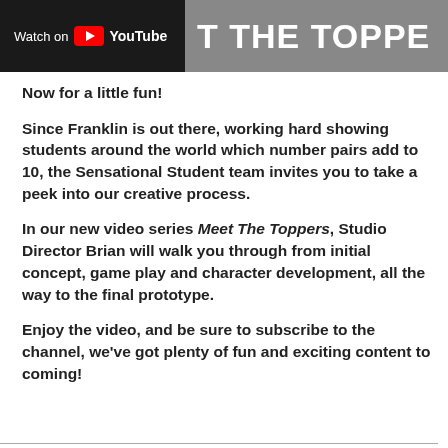[Figure (screenshot): YouTube video thumbnail banner showing 'Watch on YouTube' button on dark left side, and partial text 'T THE TOPPE...' on grey right side]
Now for a little fun!
Since Franklin is out there, working hard showing students around the world which number pairs add to 10, the Sensational Student team invites you to take a peek into our creative process.
In our new video series Meet The Toppers, Studio Director Brian will walk you through from initial concept, game play and character development, all the way to the final prototype.
Enjoy the video, and be sure to subscribe to the channel, we've got plenty of fun and exciting content to coming!